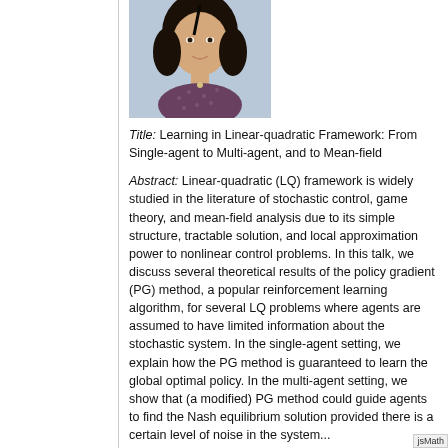[Figure (photo): Headshot photo of a person with dark hair against a light background]
Title: Learning in Linear-quadratic Framework: From Single-agent to Multi-agent, and to Mean-field
Abstract: Linear-quadratic (LQ) framework is widely studied in the literature of stochastic control, game theory, and mean-field analysis due to its simple structure, tractable solution, and local approximation power to nonlinear control problems. In this talk, we discuss several theoretical results of the policy gradient (PG) method, a popular reinforcement learning algorithm, for several LQ problems where agents are assumed to have limited information about the stochastic system. In the single-agent setting, we explain how the PG method is guaranteed to learn the global optimal policy. In the multi-agent setting, we show that (a modified) PG method could guide agents to find the Nash equilibrium solution provided there is a certain level of noise in the system.